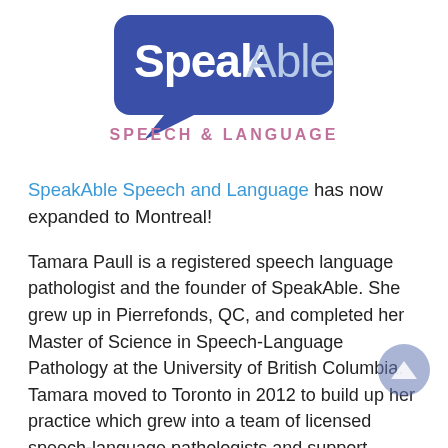[Figure (logo): SpeakAble Speech & Language logo: a blue speech bubble with 'SpeakAble' text in blue/purple and 'SPEECH & LANGUAGE' in pink/mauve below]
SpeakAble Speech and Language has now expanded to Montreal!
Tamara Paull is a registered speech language pathologist and the founder of SpeakAble. She grew up in Pierrefonds, QC, and completed her Master of Science in Speech-Language Pathology at the University of British Columbia. Tamara moved to Toronto in 2012 to build up her practice which grew into a team of licensed speech-language pathologists and support personnel. She...